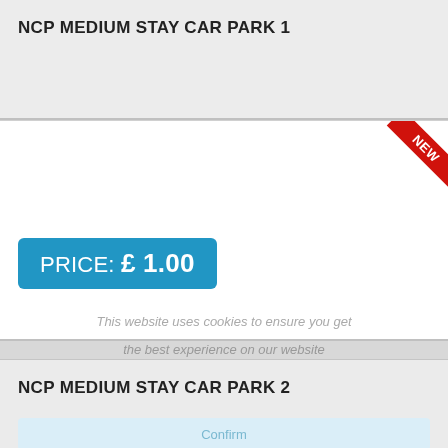NCP MEDIUM STAY CAR PARK 1
[Figure (infographic): Car park listing card with NEW ribbon badge in top-right corner, blue price badge showing PRICE: £ 1.00, and cookie notice overlay text]
PRICE: £ 1.00
This website uses cookies to ensure you get the best experience on our website
NCP MEDIUM STAY CAR PARK 2
[Figure (infographic): Car park listing card with confirm button area and NEW ribbon badge in bottom-right corner]